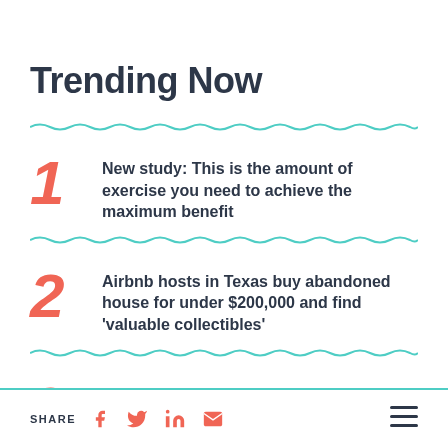Trending Now
New study: This is the amount of exercise you need to achieve the maximum benefit
Airbnb hosts in Texas buy abandoned house for under $200,000 and find 'valuable collectibles'
How to get free Covid-19 tests delivered before the program is suspended on Friday
SHARE